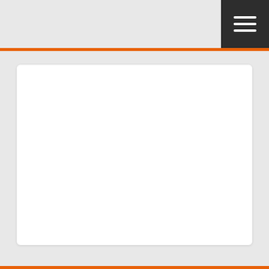FREE TRIP SAFETY CHECK
Before your next trip, receive a free 51-point safety check.
MAKE AN APPOINTMENT
Print Coupon   EXP 9/20/2022